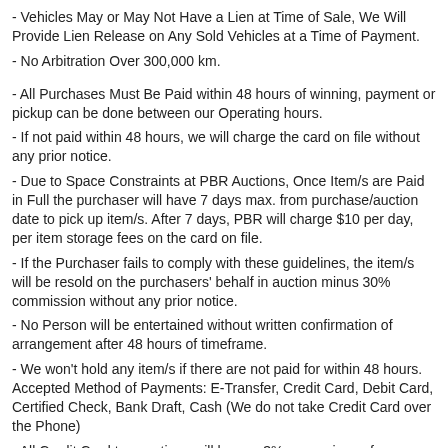- Vehicles May or May Not Have a Lien at Time of Sale, We Will Provide Lien Release on Any Sold Vehicles at a Time of Payment.
- No Arbitration Over 300,000 km.
- All Purchases Must Be Paid within 48 hours of winning, payment or pickup can be done between our Operating hours.
- If not paid within 48 hours, we will charge the card on file without any prior notice.
- Due to Space Constraints at PBR Auctions, Once Item/s are Paid in Full the purchaser will have 7 days max. from purchase/auction date to pick up item/s. After 7 days, PBR will charge $10 per day, per item storage fees on the card on file.
- If the Purchaser fails to comply with these guidelines, the item/s will be resold on the purchasers' behalf in auction minus 30% commission without any prior notice.
- No Person will be entertained without written confirmation of arrangement after 48 hours of timeframe.
- We won't hold any item/s if there are not paid for within 48 hours. Accepted Method of Payments: E-Transfer, Credit Card, Debit Card, Certified Check, Bank Draft, Cash (We do not take Credit Card over the Phone)
- All Credit Card transactions will have a 3% convenience fee.
- All our Liquidation Auctions are Online Only with Live Bidding.